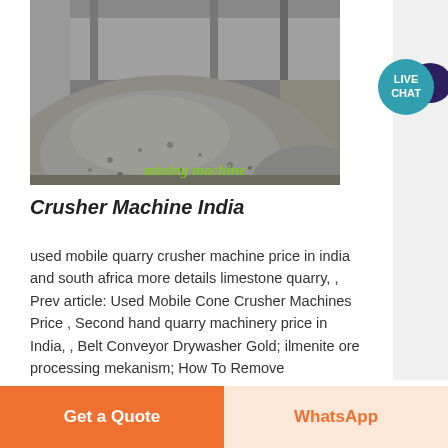[Figure (photo): Industrial photo showing a large mound of crushed stone/gravel aggregate inside a warehouse or factory setting, with structural pillars visible in the background. Green italic text 'mining machine' overlaid at bottom right of image.]
Crusher Machine India
used mobile quarry crusher machine price in india and south africa more details limestone quarry, , Prev article: Used Mobile Cone Crusher Machines Price , Second hand quarry machinery price in India, , Belt Conveyor Drywasher Gold; ilmenite ore processing mekanism; How To Remove
[Figure (logo): Live Chat badge - teal circle with 'LIVE CHAT' text and dark speech bubble icon]
Get a Quote
WhatsApp